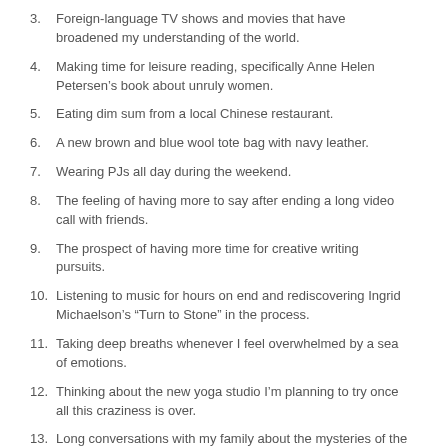3.  Foreign-language TV shows and movies that have broadened my understanding of the world.
4.  Making time for leisure reading, specifically Anne Helen Petersen’s book about unruly women.
5.  Eating dim sum from a local Chinese restaurant.
6.  A new brown and blue wool tote bag with navy leather.
7.  Wearing PJs all day during the weekend.
8.  The feeling of having more to say after ending a long video call with friends.
9.  The prospect of having more time for creative writing pursuits.
10.  Listening to music for hours on end and rediscovering Ingrid Michaelson’s “Turn to Stone” in the process.
11.  Taking deep breaths whenever I feel overwhelmed by a sea of emotions.
12.  Thinking about the new yoga studio I’m planning to try once all this craziness is over.
13.  Long conversations with my family about the mysteries of the human body and the need for evidence-based decision making.